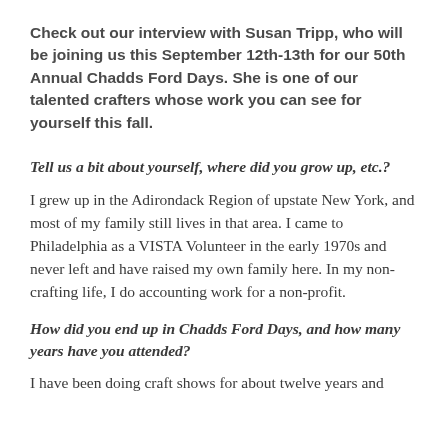Check out our interview with Susan Tripp, who will be joining us this September 12th-13th for our 50th Annual Chadds Ford Days.  She is one of our talented crafters whose work you can see for yourself this fall.
Tell us a bit about yourself, where did you grow up, etc.?
I grew up in the Adirondack Region of upstate New York, and most of my family still lives in that area.  I came to Philadelphia as a VISTA Volunteer in the early 1970s and never left and have raised my own family here.  In my non-crafting life, I do accounting work for a non-profit.
How did you end up in Chadds Ford Days, and how many years have you attended?
I have been doing craft shows for about twelve years and